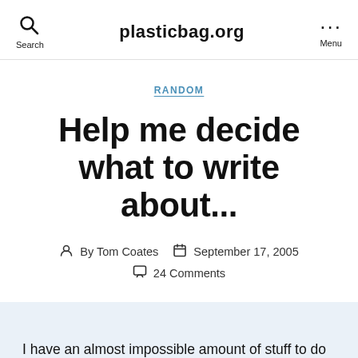Search  plasticbag.org  Menu
RANDOM
Help me decide what to write about...
By Tom Coates  September 17, 2005  24 Comments
I have an almost impossible amount of stuff to do this weekend, and a good block of them involve writing